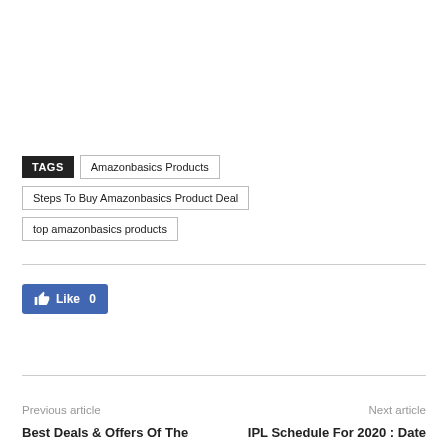TAGS  Amazonbasics Products  Steps To Buy Amazonbasics Product Deal  top amazonbasics products
[Figure (other): Facebook Like button showing thumbs up icon and Like 0 count]
Previous article
Next article
Best Deals & Offers Of The
IPL Schedule For 2020 : Date